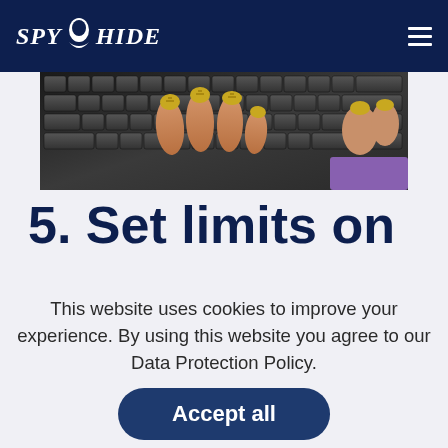SPYHIDE
[Figure (photo): Close-up photo of hands with decorated fingernails typing on a laptop keyboard]
5. Set limits on
This website uses cookies to improve your experience. By using this website you agree to our Data Protection Policy.
Accept all